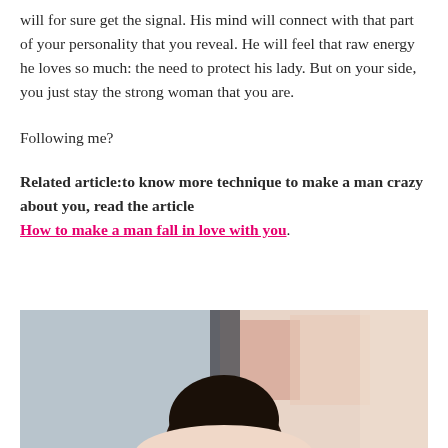will for sure get the signal. His mind will connect with that part of your personality that you reveal. He will feel that raw energy he loves so much: the need to protect his lady. But on your side, you just stay the strong woman that you are.
Following me?
Related article: to know more technique to make a man crazy about you, read the article How to make a man fall in love with you.
[Figure (photo): A woman with dark hair photographed from behind/side, in an indoor setting with colorful artwork visible in the background.]